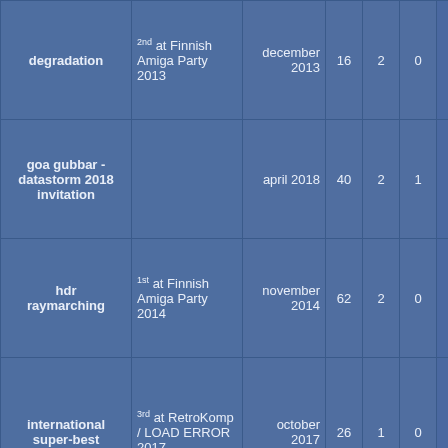| name | placement | date | votes+ | votes- | votes0 | score | bar |
| --- | --- | --- | --- | --- | --- | --- | --- |
| degradation | 2nd at Finnish Amiga Party 2013 | december 2013 | 16 | 2 | 0 | 0.89 |  |
| goa gubbar - datastorm 2018 invitation |  | april 2018 | 40 | 2 | 1 | 0.91 |  |
| hdr raymarching | 1st at Finnish Amiga Party 2014 | november 2014 | 62 | 2 | 0 | 0.97 |  |
| international super-best | 3rd at RetroKomp / LOAD ERROR 2017 | october 2017 | 26 | 1 | 0 | 0.96 |  |
| kocmunikator 3 |  | september 1998 | 2 | 0 | 0 | 1.00 |  |
| maga uncut | 9th at Vortex 2016 | november 2016 | 10 | 2 | 0 | 0.83 |  |
| megademo 0 |  | april 1998 | 2 | 2 | 0 | 0.50 |  |